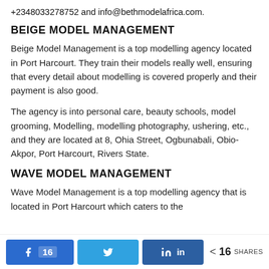+2348033278752 and info@bethmodelafrica.com.
BEIGE MODEL MANAGEMENT
Beige Model Management is a top modelling agency located in Port Harcourt. They train their models really well, ensuring that every detail about modelling is covered properly and their payment is also good.
The agency is into personal care, beauty schools, model grooming, Modelling, modelling photography, ushering, etc., and they are located at 8, Ohia Street, Ogbunabali, Obio-Akpor, Port Harcourt, Rivers State.
WAVE MODEL MANAGEMENT
Wave Model Management is a top modelling agency that is located in Port Harcourt which caters to the
16 [Facebook] | [Twitter] | [LinkedIn] | < 16 SHARES